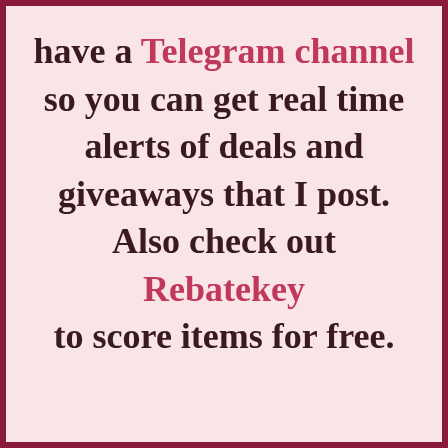have a Telegram channel so you can get real time alerts of deals and giveaways that I post. Also check out Rebatekey to score items for free.